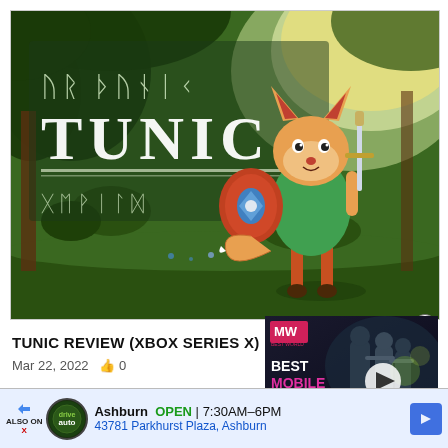[Figure (screenshot): TUNIC game promotional image showing a fox character holding a sword and shield in a fantasy forest setting, with the TUNIC logo in stylized text on the left side]
TUNIC REVIEW (XBOX SERIES X)
Mar 22, 2022  👍 0
[Figure (screenshot): Video advertisement showing soldiers/game characters with text BEST MOBILE GAMES and MW logo, with a play button overlay]
[Figure (infographic): Bottom banner advertisement: ALSO ON X arrow, auto service logo, Ashburn OPEN 7:30AM-6PM, 43781 Parkhurst Plaza Ashburn, navigation arrow button]